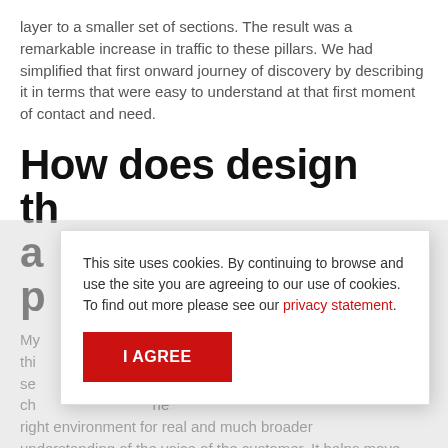layer to a smaller set of sections. The result was a remarkable increase in traffic to these pillars. We had simplified that first onward journey of discovery by describing it in terms that were easy to understand at that first moment of contact and need.
How does design thinking help to achieve better purpose?
My ... design this ... se... ch... the right environment for real and much broader understanding of the voice of the customer. It helps move
This site uses cookies. By continuing to browse and use the site you are agreeing to our use of cookies. To find out more please see our privacy statement.
I AGREE